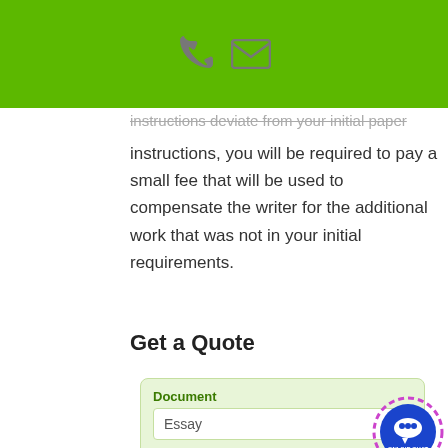[phone icon] [email icon]
instructions deviate from your initial paper instructions, you will be required to pay a small fee that will be used to compensate the writer for the additional work that was not in your initial requirements.
Get a Quote
[Figure (screenshot): Order form with Document field showing 'Essay', Academic Level dropdown showing 'High School', and Subject label. Online chat badge in lower right.]